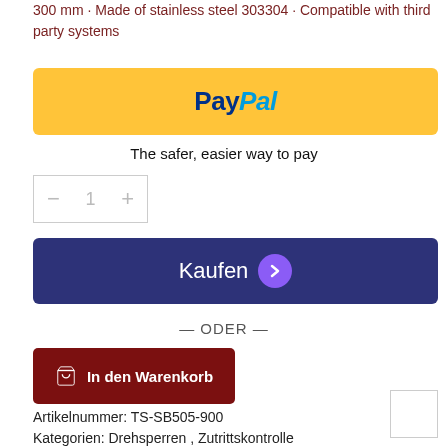300 mm · Made of stainless steel 303304 · Compatible with third party systems
[Figure (logo): PayPal payment button with golden/yellow background, showing the PayPal logo in dark blue and light blue text]
The safer, easier way to pay
— 1 +
[Figure (screenshot): Dark navy blue Kaufen (Buy) button with a purple arrow/chevron circle icon on the right]
— ODER —
[Figure (screenshot): Dark red 'In den Warenkorb' (Add to cart) button with shopping cart icon]
Artikelnummer: TS-SB505-900
Kategorien: Drehsperren , Zutrittskontrolle